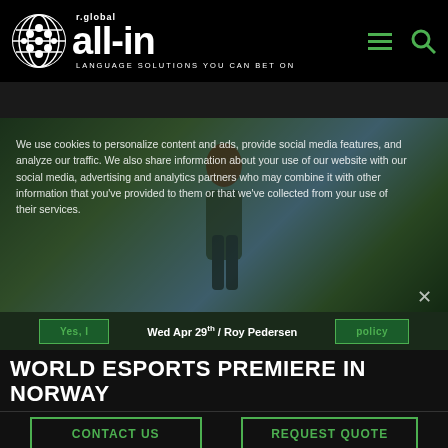[Figure (logo): all-in.global logo with globe icon and tagline LANGUAGE SOLUTIONS YOU CAN BET ON]
[Figure (photo): Outdoor photo of a person with red hair holding a book/magazine, standing on a sports field with buildings and sky in background. A cookie consent banner overlays the image.]
We use cookies to personalize content and ads, provide social media features, and analyze our traffic. We also share information about your use of our website with our social media, advertising and analytics partners who may combine it with other information that you've provided to them or that we've collected from your use of their services.
Wed Apr 29th / Roy Pedersen
WORLD ESPORTS PREMIERE IN NORWAY
CONTACT US
REQUEST QUOTE